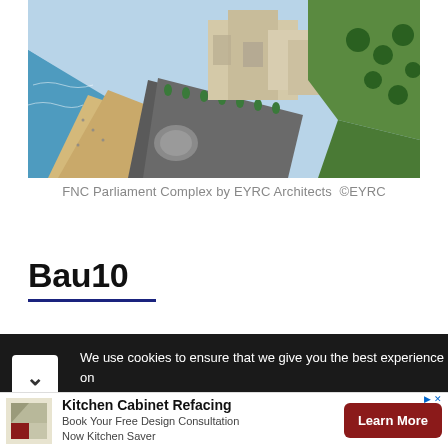[Figure (photo): Aerial view of FNC Parliament Complex showing a coastal development with beach, promenade lined with palm trees, modern buildings, and green parkland]
FNC Parliament Complex by EYRC Architects  ©EYRC
Bau10
We use cookies to ensure that we give you the best experience on website. If you continue to use this site we will assume that you
Kitchen Cabinet Refacing
Book Your Free Design Consultation Now Kitchen Saver